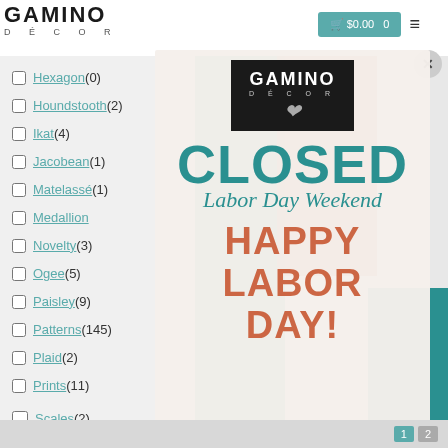[Figure (screenshot): Gamino Décor website screenshot showing a filter sidebar with pattern categories (Hexagon, Houndstooth, Ikat, Jacobean, Matelassé, Medallion, Novelty, Ogee, Paisley, Patterns, Plaid, Prints, Scales) and a modal popup announcing the store is CLOSED for Labor Day Weekend with 'HAPPY LABOR DAY!' message. The modal shows the Gamino Décor logo on a dark background. Background has teal, peach/orange and dark teal decorative panels.]